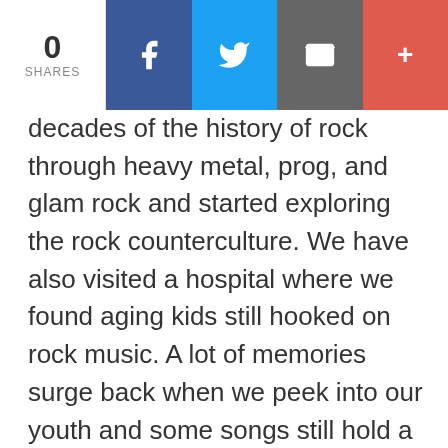0 SHARES | Facebook | Twitter | Email | +
decades of the history of rock through heavy metal, prog, and glam rock and started exploring the rock counterculture. We have also visited a hospital where we found aging kids still hooked on rock music. A lot of memories surge back when we peek into our youth and some songs still hold a lot of meaning almost half a century after we heard them for the very first time. Bluebook is the episode retelling the introduction to the Duga nota book by music. The first two minutes and 30 seconds are a spoken dedication to the late Alen Balen who died on the eve of the show's original launch date of March 30. This was pushed for a week in the wake of this tragedy and the show